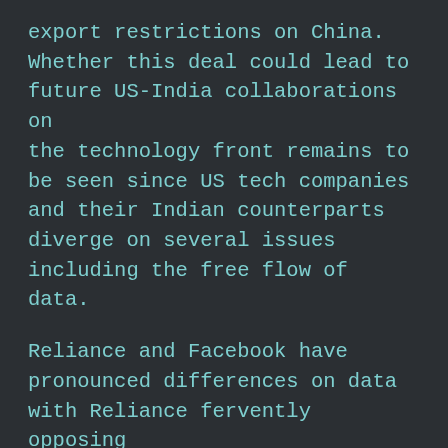export restrictions on China. Whether this deal could lead to future US-India collaborations on the technology front remains to be seen since US tech companies and their Indian counterparts diverge on several issues including the free flow of data.
Reliance and Facebook have pronounced differences on data with Reliance fervently opposing ‘data colonialism’ that localise data which Facebook has long